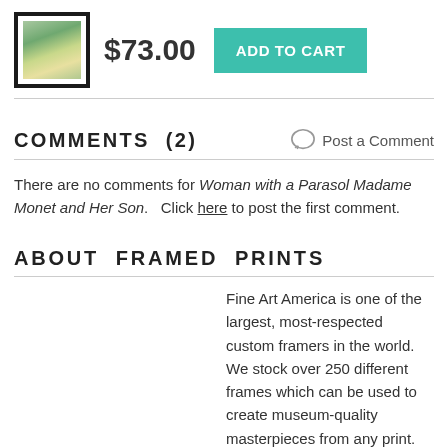[Figure (photo): Thumbnail of framed art print showing a landscape painting with trees, in a black frame]
$73.00
ADD TO CART
COMMENTS  (2)
Post a Comment
There are no comments for Woman with a Parasol Madame Monet and Her Son.   Click here to post the first comment.
ABOUT  FRAMED  PRINTS
Fine Art America is one of the largest, most-respected custom framers in the world.   We stock over 250 different frames which can be used to create museum-quality masterpieces from any print.   All framed prints are assembled, packaged, and